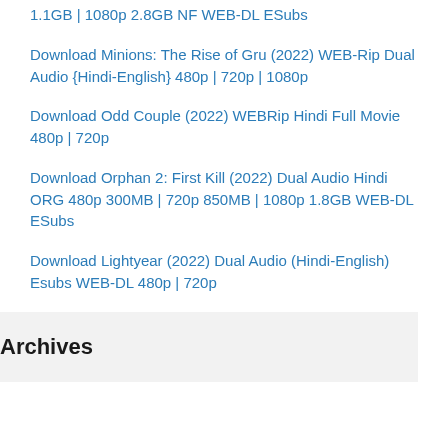1.1GB | 1080p 2.8GB NF WEB-DL ESubs
Download Minions: The Rise of Gru (2022) WEB-Rip Dual Audio {Hindi-English} 480p | 720p | 1080p
Download Odd Couple (2022) WEBRip Hindi Full Movie 480p | 720p
Download Orphan 2: First Kill (2022) Dual Audio Hindi ORG 480p 300MB | 720p 850MB | 1080p 1.8GB WEB-DL ESubs
Download Lightyear (2022) Dual Audio (Hindi-English) Esubs WEB-DL 480p | 720p
Archives